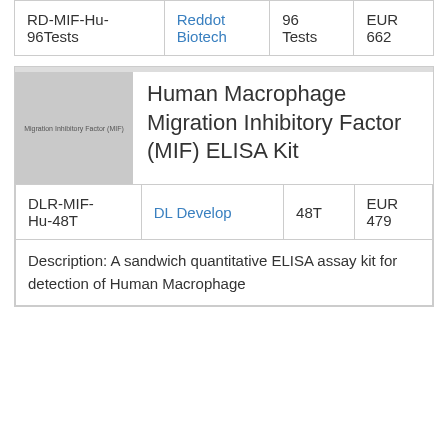| Product ID | Supplier | Size | Price |
| --- | --- | --- | --- |
| RD-MIF-Hu-96Tests | Reddot Biotech | 96 Tests | EUR 662 |
[Figure (photo): Thumbnail image placeholder for Human Macrophage Migration Inhibitory Factor (MIF) ELISA Kit product]
Human Macrophage Migration Inhibitory Factor (MIF) ELISA Kit
| Product ID | Supplier | Size | Price |
| --- | --- | --- | --- |
| DLR-MIF-Hu-48T | DL Develop | 48T | EUR 479 |
Description: A sandwich quantitative ELISA assay kit for detection of Human Macrophage